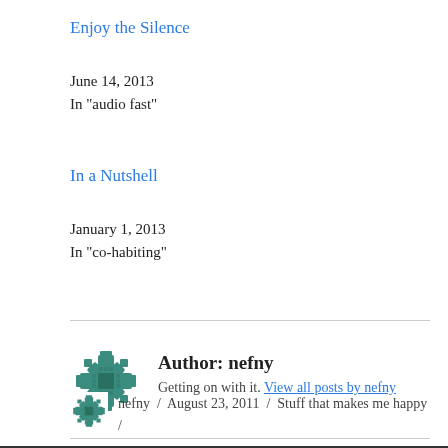Enjoy the Silence
June 14, 2013
In "audio fast"
In a Nutshell
January 1, 2013
In "co-habiting"
Author: nefny
Getting on with it. View all posts by nefny
nefny / August 23, 2011 / Stuff that makes me happy /